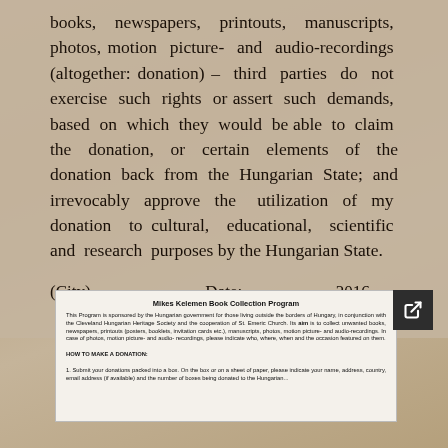books, newspapers, printouts, manuscripts, photos, motion picture- and audio-recordings (altogether: donation) – third parties do not exercise such rights or assert such demands, based on which they would be able to claim the donation, or certain elements of the donation back from the Hungarian State; and irrevocably approve the utilization of my donation to cultural, educational, scientific and research purposes by the Hungarian State.
(City) ......................... Date: ..................., 2016
..................................................Signature
[Figure (screenshot): Embedded document preview showing 'Mikes Kelemen Book Collection Program' with program description text and 'HOW TO MAKE A DONATION' section header, with an external link icon in the top-right corner.]